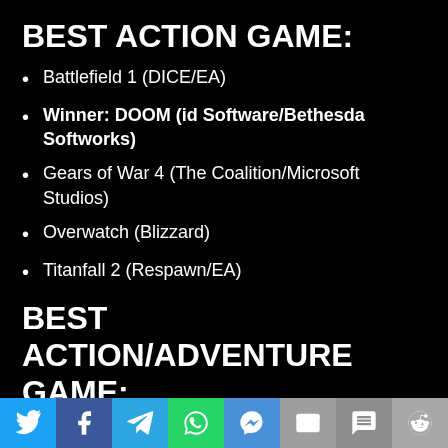BEST ACTION GAME:
Battlefield 1 (DICE/EA)
Winner: DOOM (id Software/Bethesda Softworks)
Gears of War 4 (The Coalition/Microsoft Studios)
Overwatch (Blizzard)
Titanfall 2 (Respawn/EA)
BEST ACTION/ADVENTURE GAME:
Winner: Dishonored 2 (Arkane Studios/Bethesda Softworks)
Social sharing buttons: Twitter, Facebook, Telegram, WhatsApp, Messenger, Email, SMS, Reddit